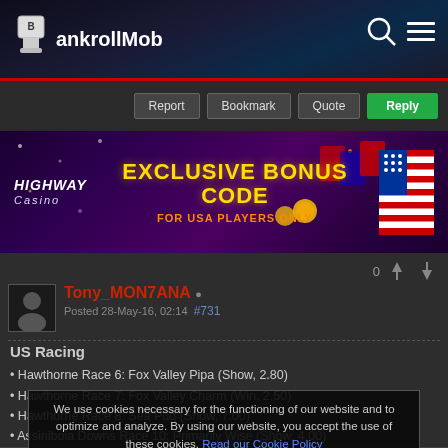The BankrollMob - forum header navigation
[Figure (screenshot): Highway Casino exclusive bonus code banner ad for USA players only]
Tony_MON7ANA Posted 28-May-16, 02:14 #731
US Racing
Hawthorne Race 6: Fox Valley Pipa (Show, 2.80)
Hawthorne Race 7: Fox Valley Charm (Win, 2.50)
Hawthorne Race 8: Sea Pug (Show, 7.00)
Assiniboia Downs Race 10: Primarily Wise (Show, 4.00)
Assiniboia Downs Race 11: Floating River (Place, 2.60)
* Odds provided by W...
We use cookies necessary for the functioning of our website and to optimize and analyze. By using our website, you accept the use of these cookies. Read our Cookie Policy
Understood